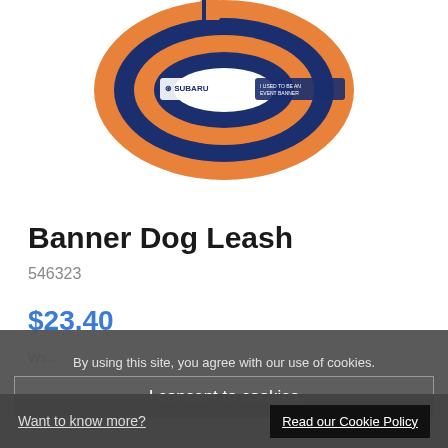[Figure (photo): Product photo of a Banner Dog Leash - orange and navy blue rolled leash with Subaru branding on a white background]
Banner Dog Leash
546323
$23.40
By using this site, you agree with our use of cookies.
I consent to cookies
Want to know more?
Read our Cookie Policy